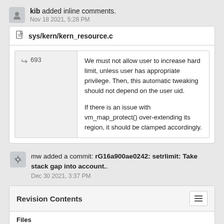kib added inline comments. Nov 18 2021, 5:28 PM
sys/kern/kern_resource.c
693 We must not allow user to increase hard limit, unless user has appropriate privilege. Then, this automatic tweaking should not depend on the user uid.

If there is an issue with vm_map_protect() over-extending its region, it should be clamped accordingly.
mw added a commit: rG16a900ae0242: setrlimit: Take stack gap into account.. Dec 30 2021, 3:37 PM
Revision Contents
Files